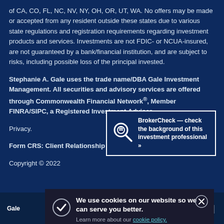of CA, CO, FL, NC, NV, NY, OH, OR, UT, WA. No offers may be made or accepted from any resident outside these states due to various state regulations and registration requirements regarding investment products and services. Investments are not FDIC- or NCUA-insured, are not guaranteed by a bank/financial institution, and are subject to risks, including possible loss of the principal invested.
Stephanie A. Gale uses the trade name/DBA Gale Investment Management. All securities and advisory services are offered through Commonwealth Financial Network®, Member FINRA/SIPC, a Registered Investment Adviser.
Privacy.
Form CRS: Client Relationship Summary
Copyright © 2022
[Figure (logo): BrokerCheck logo with text: BrokerCheck — check the background of this investment professional >>]
Gale | P 3
We use cookies on our website so we can serve you better. Learn more about our cookie policy.